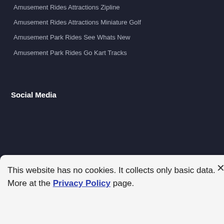Amusement Rides Attractions Zipline
Amusement Rides Attractions Miniature Golf
Amusement Park Rides See Whats New
Amusement Park Rides Go Kart Tracks
Social Media
Featured Video
This website has no cookies. It collects only basic data. More at the Privacy Policy page.